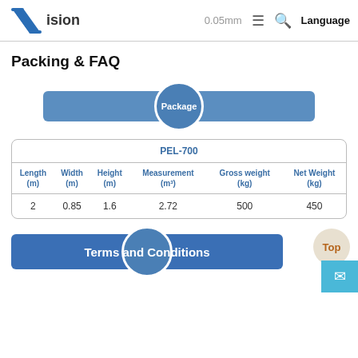STVision 0.05mm ≡ 🔍 Language
Packing & FAQ
[Figure (infographic): Blue rounded bar banner with circle overlay labeled 'Package']
| PEL-700 |  |  |  |  |  |
| --- | --- | --- | --- | --- | --- |
| Length (m) | Width (m) | Height (m) | Measurement (m³) | Gross weight (kg) | Net Weight (kg) |
| 2 | 0.85 | 1.6 | 2.72 | 500 | 450 |
[Figure (infographic): Blue rounded bar banner with circle overlay labeled 'Terms and Conditions']